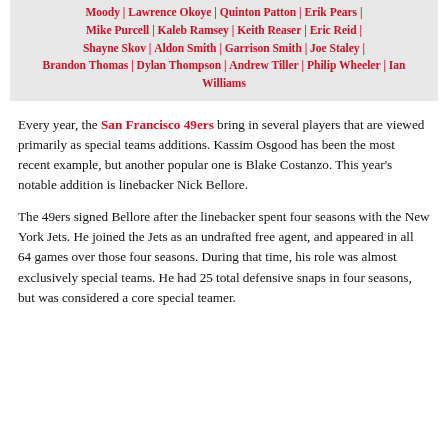Moody | Lawrence Okoye | Quinton Patton | Erik Pears | Mike Purcell | Kaleb Ramsey | Keith Reaser | Eric Reid | Shayne Skov | Aldon Smith | Garrison Smith | Joe Staley | Brandon Thomas | Dylan Thompson | Andrew Tiller | Philip Wheeler | Ian Williams
Every year, the San Francisco 49ers bring in several players that are viewed primarily as special teams additions. Kassim Osgood has been the most recent example, but another popular one is Blake Costanzo. This year's notable addition is linebacker Nick Bellore.
The 49ers signed Bellore after the linebacker spent four seasons with the New York Jets. He joined the Jets as an undrafted free agent, and appeared in all 64 games over those four seasons. During that time, his role was almost exclusively special teams. He had 25 total defensive snaps in four seasons, but was considered a core special teamer.